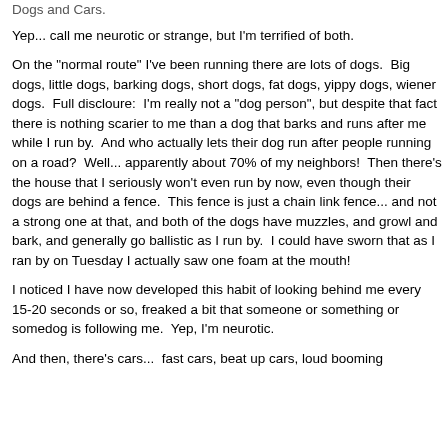Dogs and Cars.
Yep... call me neurotic or strange, but I'm terrified of both.
On the "normal route" I've been running there are lots of dogs.  Big dogs, little dogs, barking dogs, short dogs, fat dogs, yippy dogs, wiener dogs.  Full discloure:  I'm really not a "dog person", but despite that fact there is nothing scarier to me than a dog that barks and runs after me while I run by.  And who actually lets their dog run after people running on a road?  Well... apparently about 70% of my neighbors!  Then there's the house that I seriously won't even run by now, even though their dogs are behind a fence.  This fence is just a chain link fence... and not a strong one at that, and both of the dogs have muzzles, and growl and bark, and generally go ballistic as I run by.  I could have sworn that as I ran by on Tuesday I actually saw one foam at the mouth!
I noticed I have now developed this habit of looking behind me every 15-20 seconds or so, freaked a bit that someone or something or somedog is following me.  Yep, I'm neurotic.
And then, there's cars...  fast cars, beat up cars, loud booming